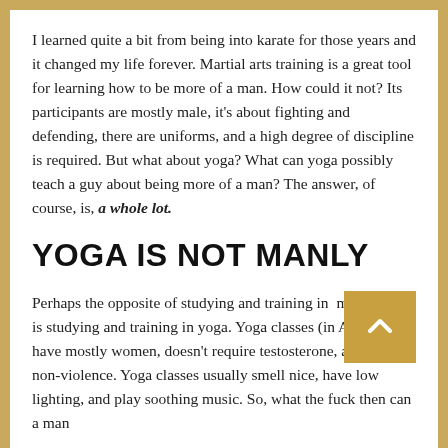I learned quite a bit from being into karate for those years and it changed my life forever. Martial arts training is a great tool for learning how to be more of a man. How could it not? Its participants are mostly male, it's about fighting and defending, there are uniforms, and a high degree of discipline is required. But what about yoga? What can yoga possibly teach a guy about being more of a man? The answer, of course, is, a whole lot.
YOGA IS NOT MANLY
Perhaps the opposite of studying and training in martial arts is studying and training in yoga. Yoga classes (in America) have mostly women, doesn't require testosterone, and teaches non-violence. Yoga classes usually smell nice, have low lighting, and play soothing music. So, what the fuck then can a man